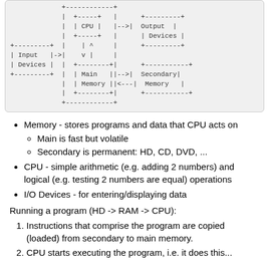[Figure (schematic): ASCII art diagram of a computer system showing Input Devices, CPU, Output Devices, Main Memory, and Secondary Memory connected by arrows.]
Memory - stores programs and data that CPU acts on
  Main is fast but volatile
  Secondary is permanent: HD, CD, DVD, ...
CPU - simple arithmetic (e.g. adding 2 numbers) and logical (e.g. testing 2 numbers are equal) operations
I/O Devices - for entering/displaying data
Running a program (HD -> RAM -> CPU):
Instructions that comprise the program are copied (loaded) from secondary to main memory.
CPU starts executing the program, i.e. it does this...